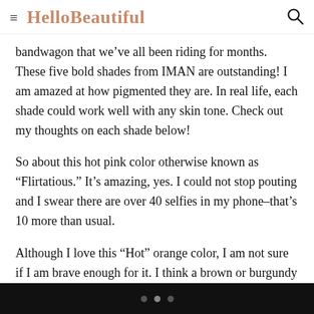HelloBeautiful
bandwagon that we’ve all been riding for months. These five bold shades from IMAN are outstanding! I am amazed at how pigmented they are. In real life, each shade could work well with any skin tone. Check out my thoughts on each shade below!
So about this hot pink color otherwise known as “Flirtatious.” It’s amazing, yes. I could not stop pouting and I swear there are over 40 selfies in my phone–that’s 10 more than usual.
Although I love this “Hot” orange color, I am not sure if I am brave enough for it. I think a brown or burgundy lip liner could quarterback this one for me.
Umm. Yea. This “Kinky Pink” is the naughtiest pink I have in my collection. I left big kisses everywhere. Even on my bathroom